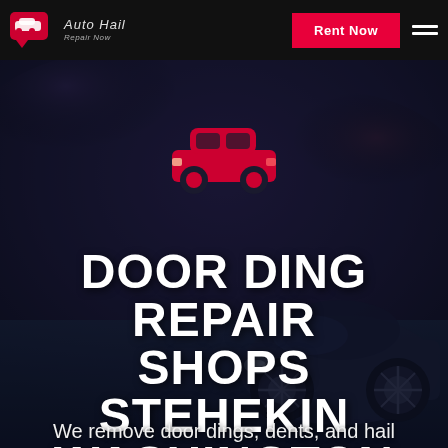Auto Hail Repair Now — Rent Now
[Figure (illustration): Red car icon (top-down simplified silhouette) centered on dark hero background with nighttime car photo overlay]
DOOR DING REPAIR SHOPS STEHEKIN WASHINGTON
We remove door dings, dents, and hail